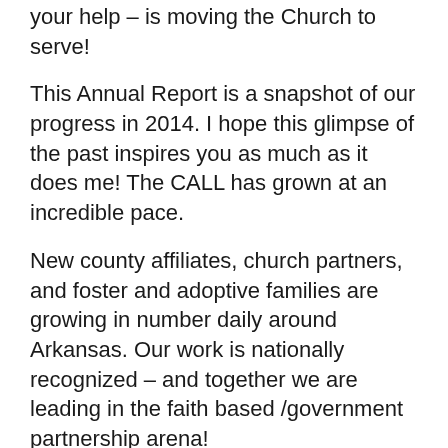your help – is moving the Church to serve!
This Annual Report is a snapshot of our progress in 2014. I hope this glimpse of the past inspires you as much as it does me! The CALL has grown at an incredible pace.
New county affiliates, church partners, and foster and adoptive families are growing in number daily around Arkansas. Our work is nationally recognized – and together we are leading in the faith based /government partnership arena!
Growth leads to changed lives – kids in foster care, their families, foster and adoptive families, volunteers, and donors! You and I are transformed through our love and care for local orphans. Thank you for being a willing servant. Amazing!